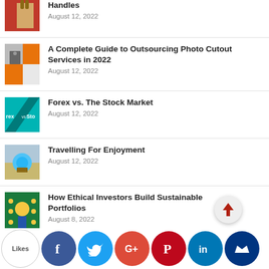Handles — August 12, 2022
A Complete Guide to Outsourcing Photo Cutout Services in 2022 — August 12, 2022
Forex vs. The Stock Market — August 12, 2022
Travelling For Enjoyment — August 12, 2022
How Ethical Investors Build Sustainable Portfolios — August 8, 2022